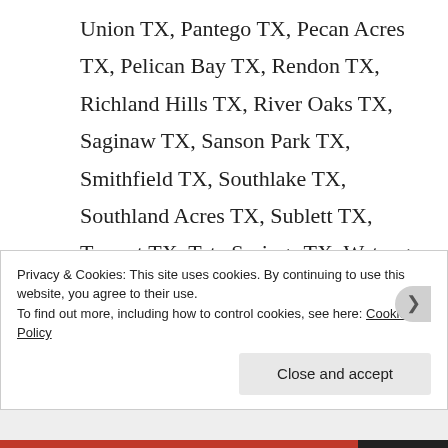Union TX, Pantego TX, Pecan Acres TX, Pelican Bay TX, Rendon TX, Richland Hills TX, River Oaks TX, Saginaw TX, Sanson Park TX, Smithfield TX, Southlake TX, Southland Acres TX, Sublett TX, Tarrant TX, Tate Springs TX, Watauga TX, Watsonville TX, Webb TX, Westlake TX, Westland TX, Westover Hills TX, Westworth
Privacy & Cookies: This site uses cookies. By continuing to use this website, you agree to their use.
To find out more, including how to control cookies, see here: Cookie Policy